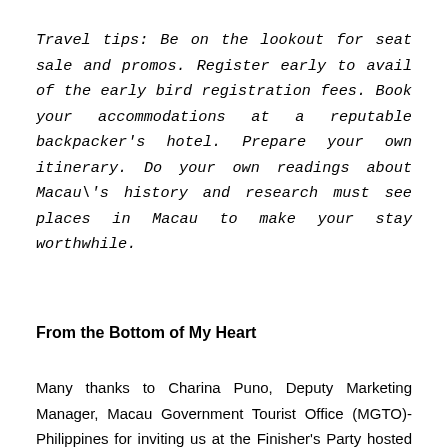Travel tips: Be on the lookout for seat sale and promos. Register early to avail of the early bird registration fees. Book your accommodations at a reputable backpacker's hotel. Prepare your own itinerary. Do your own readings about Macau\'s history and research must see places in Macau to make your stay worthwhile.
From the Bottom of My Heart
Many thanks to Charina Puno, Deputy Marketing Manager, Macau Government Tourist Office (MGTO)-Philippines for inviting us at the Finisher's Party hosted by MGTO-Macau, MGTO-Taiwan, and MGTO-